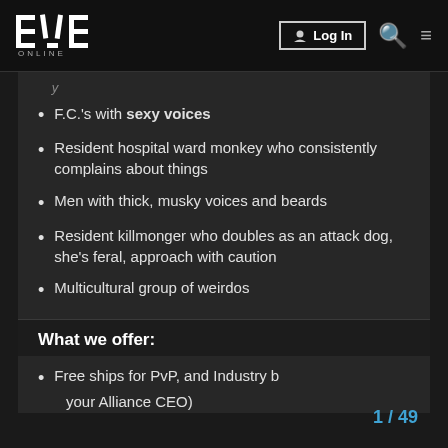EVE Online — Log In
F.C.'s with sexy voices
Resident hospital ward monkey who consistently complains about things
Men with thick, musky voices and beards
Resident killmonger who doubles as an attack dog, she's feral, approach with caution
Multicultural group of weirdos
What we offer:
Free ships for PvP, and Industry b[oosts from your Alliance CEO]
1 / 49